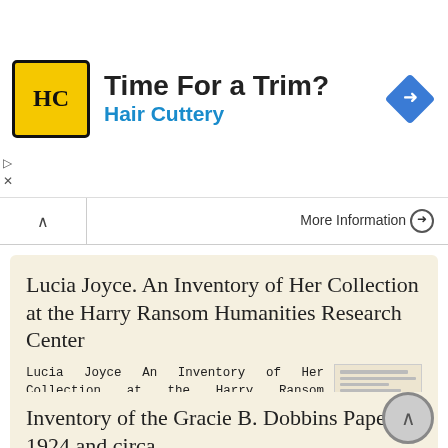[Figure (other): Hair Cuttery advertisement banner with logo, text 'Time For a Trim? Hair Cuttery' and navigation icon]
More information →
Lucia Joyce. An Inventory of Her Collection at the Harry Ransom Humanities Research Center
Lucia Joyce An Inventory of Her Collection at the Harry Ransom Humanities Research Center Descriptive Summary Creator: Joyce, Lucia, 1907-1982 Title: Dates: 1925-1995 Extent: Abstract: RLIN Record #: None
More information →
Inventory of the Gracie B. Dobbins Papers, 1924 and circa